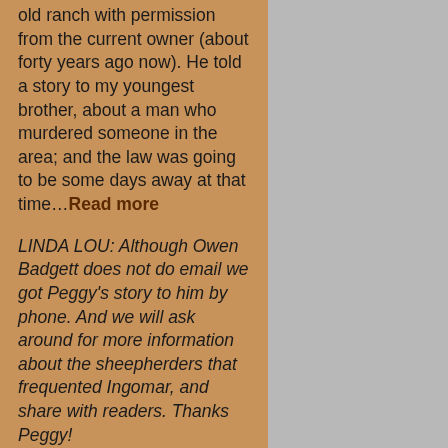old ranch with permission from the current owner (about forty years ago now). He told a story to my youngest brother, about a man who murdered someone in the area; and the law was going to be some days away at that time…Read more
LINDA LOU: Although Owen Badgett does not do email we got Peggy's story to him by phone. And we will ask around for more information about the sheepherders that frequented Ingomar, and share with readers. Thanks Peggy!
“I knew Owen years ago when I lived in Miles City. I still have a poetry book that he autographed for me. Its in a box but I still have it! Owen used to come down to the Hole In The